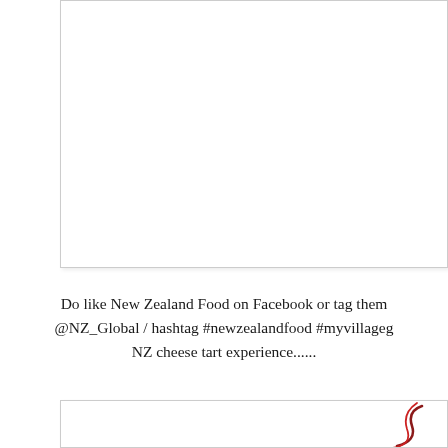[Figure (photo): White/blank rectangular image box with a thin border, positioned in the upper portion of the page. The image content is largely white/empty as the photo is cropped out.]
Do like New Zealand Food on Facebook or tag them @NZ_Global / hashtag #newzealandfood #myvillageg NZ cheese tart experience......
[Figure (photo): Partial view of a second image box at the bottom of the page, showing a curved red/dark swirl or logo element on the right side.]